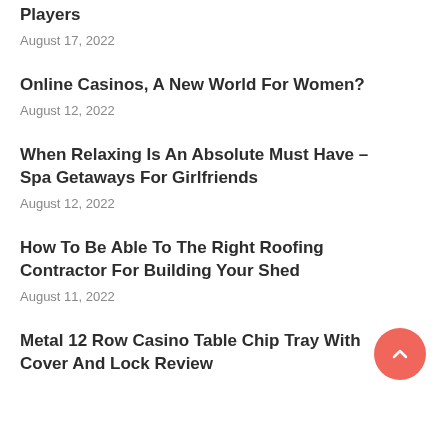Players
August 17, 2022
Online Casinos, A New World For Women?
August 12, 2022
When Relaxing Is An Absolute Must Have – Spa Getaways For Girlfriends
August 12, 2022
How To Be Able To The Right Roofing Contractor For Building Your Shed
August 11, 2022
Metal 12 Row Casino Table Chip Tray With Cover And Lock Review